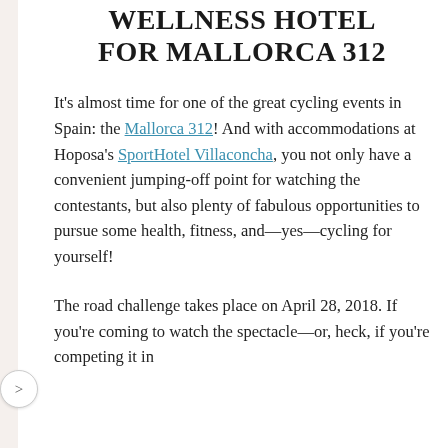WELLNESS HOTEL FOR MALLORCA 312
It's almost time for one of the great cycling events in Spain: the Mallorca 312! And with accommodations at Hoposa's SportHotel Villaconcha, you not only have a convenient jumping-off point for watching the contestants, but also plenty of fabulous opportunities to pursue some health, fitness, and—yes—cycling for yourself!
The road challenge takes place on April 28, 2018. If you're coming to watch the spectacle—or, heck, if you're competing it in